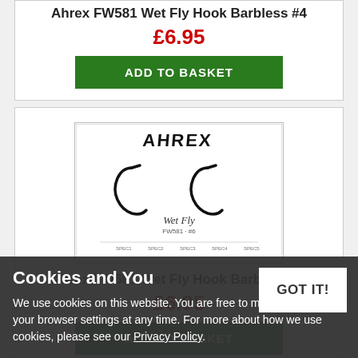Ahrex FW581 Wet Fly Hook Barbless #4
£6.95
ADD TO BASKET
[Figure (photo): Ahrex FW581 Wet Fly Hook Barbless product packaging image showing two fishing hooks and product details]
Ahrex FW581 Wet Fly Hook Barbless #6
£6.95
ADD TO BASKET
Cookies and You
We use cookies on this website. You are free to manage these via your browser settings at any time. For more about how we use cookies, please see our Privacy Policy.
GOT IT!